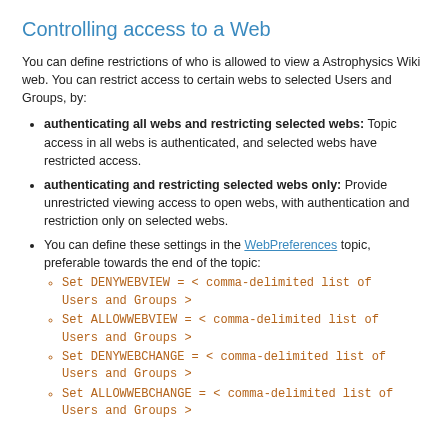Controlling access to a Web
You can define restrictions of who is allowed to view a Astrophysics Wiki web. You can restrict access to certain webs to selected Users and Groups, by:
authenticating all webs and restricting selected webs: Topic access in all webs is authenticated, and selected webs have restricted access.
authenticating and restricting selected webs only: Provide unrestricted viewing access to open webs, with authentication and restriction only on selected webs.
You can define these settings in the WebPreferences topic, preferable towards the end of the topic:
Set DENYWEBVIEW = < comma-delimited list of Users and Groups >
Set ALLOWWEBVIEW = < comma-delimited list of Users and Groups >
Set DENYWEBCHANGE = < comma-delimited list of Users and Groups >
Set ALLOWWEBCHANGE = < comma-delimited list of Users and Groups >